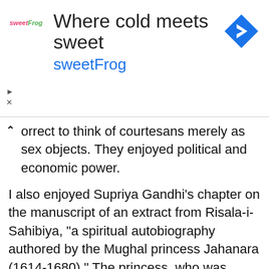[Figure (screenshot): Advertisement banner for sweetFrog frozen yogurt. Shows the text 'Where cold meets sweet' and 'sweetFrog' logo with navigation arrow icon. Contains small sweetFrog logo text, play and close control buttons.]
orrect to think of courtesans merely as sex objects. They enjoyed political and economic power.
I also enjoyed Supriya Gandhi's chapter on the manuscript of an extract from Risala-i-Sahibiya, "a spiritual autobiography authored by the Mughal princess Jahanara (1614-1680)." The princess, who was Shah Jahan's eldest daughter, is full of praise for her Sufi preceptor Mulla Shah Badakhshi of the Qadiri order. Gandhi, who wrote the book The Emperor Who Never Was: Dara Shukoh in Mughal India (2020), discovered this text